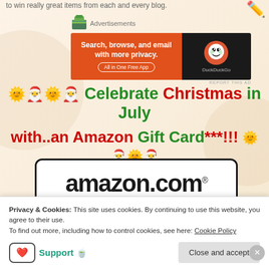to win really great items from each and every blog.
[Figure (screenshot): DuckDuckGo advertisement banner: orange left side with text 'Search, browse, and email with more privacy. All in One Free App' and dark right side with DuckDuckGo logo]
🌞🎅🌞🎅 Celebrate Christmas in July with..an Amazon Gift Card***!!! 🌞🎅🌞🎅
[Figure (photo): Amazon.com gift card with black border, white background showing amazon.com logo with smile arrow, and yellow bar at bottom]
Privacy & Cookies: This site uses cookies. By continuing to use this website, you agree to their use.
To find out more, including how to control cookies, see here: Cookie Policy